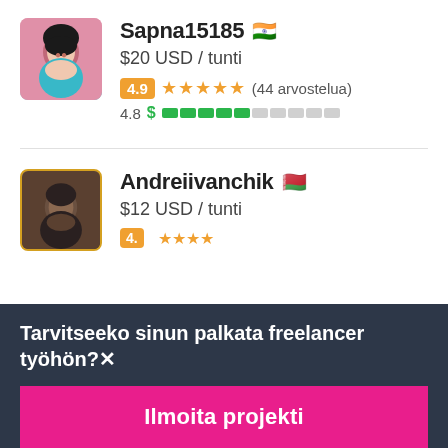[Figure (photo): Profile photo of Sapna15185 - woman with dark hair on pink/teal gradient background]
Sapna15185 🇮🇳
$20 USD / tunti
4.9 ★★★★★ (44 arvostelua)
4.8 $ ▬▬▬▬▬░░░░░
[Figure (photo): Profile photo of Andreiivanchik - man with dark skin on dark background, avatar with golden border]
Andreiivanchik 🇧🇾
$12 USD / tunti
Tarvitseeko sinun palkata freelancer työhön?✕
Ilmoita projekti